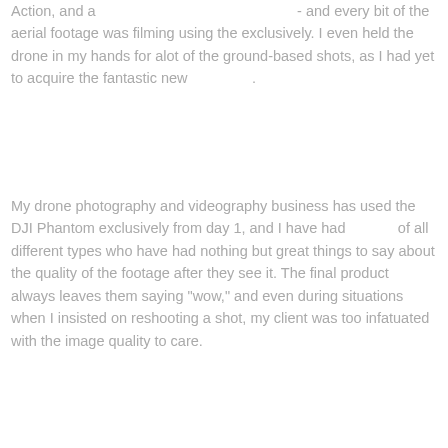Action, and a                                                    - and every bit of the aerial footage was filming using the exclusively. I even held the drone in my hands for alot of the ground-based shots, as I had yet to acquire the fantastic new                .
My drone photography and videography business has used the DJI Phantom exclusively from day 1, and I have had              of all different types who have had nothing but great things to say about the quality of the footage after they see it. The final product always leaves them saying "wow," and even during situations when I insisted on reshooting a shot, my client was too infatuated with the image quality to care.